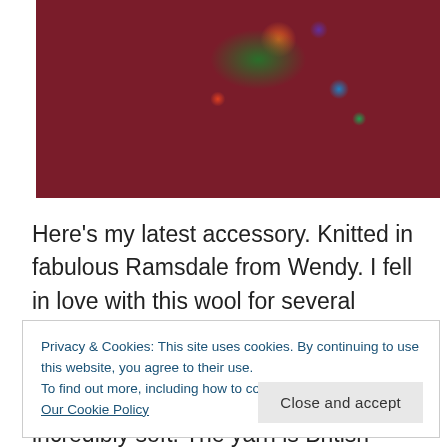[Figure (photo): A dark red/maroon knitted sweater with colorful crochet decorations (green, orange, blue, purple yarn drops and bobbles) against a wooden background]
Here’s my latest accessory. Knitted in fabulous Ramsdale from Wendy. I fell in love with this wool for several reasons, first of all the colours are beautiful, it has a soft haze that you lose with superwash wools and it’s incredibly soft. The yarn is British – “born, bred and made in Yorkshire” – so
Privacy & Cookies: This site uses cookies. By continuing to use this website, you agree to their use.
To find out more, including how to control cookies, see here: Our Cookie Policy
Close and accept
Each shade is named after a Yorkshire village or